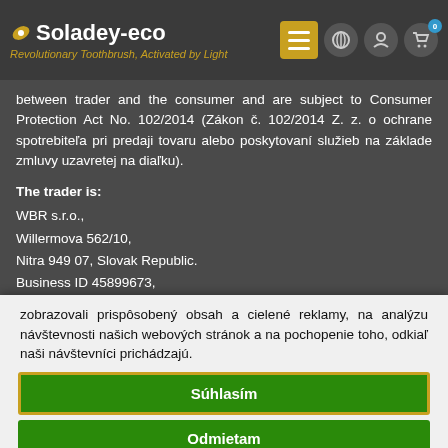Soladey-eco — Revolutionary Toothbrush, Activated by Light
between trader and the consumer and are subject to Consumer Protection Act No. 102/2014 (Zákon č. 102/2014 Z. z. o ochrane spotrebiteľa pri predaji tovaru alebo poskytovaní služieb na základe zmluvy uzavretej na diaľku).
The trader is:
WBR s.r.o.,
Willermova 562/10,
Nitra 949 07, Slovak Republic.
Business ID 45899673,
zobrazovali prispôsobený obsah a cielené reklamy, na analýzu návštevnosti našich webových stránok a na pochopenie toho, odkiaľ naši návštevníci prichádzajú.
Súhlasím
Odmietam
Zmeniť moje nastavenia